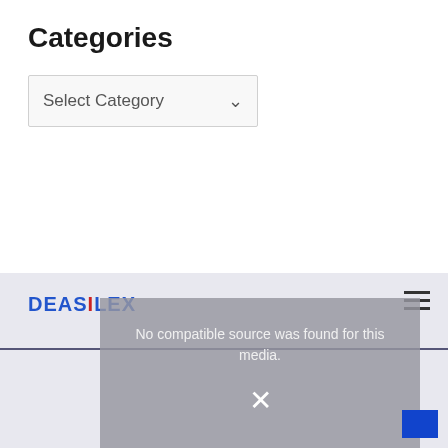Categories
[Figure (screenshot): A dropdown select box with placeholder text 'Select Category' and a dropdown arrow icon]
[Figure (screenshot): Footer area showing the Deasilex logo on the left, a hamburger menu icon on the right, a horizontal divider line, and a video player overlay in the center showing 'No compatible source was found for this media.' with a close X button and a blue button in the bottom-right corner]